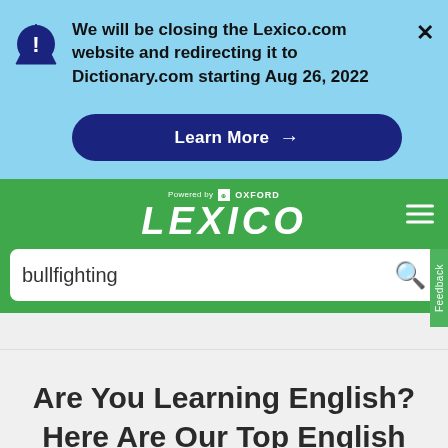We will be closing the Lexico.com website and redirecting it to Dictionary.com starting Aug 26, 2022
Learn More →
[Figure (screenshot): Lexico.com website header with Oxford-powered logo on green background]
bullfighting
Are You Learning English? Here Are Our Top English Tips